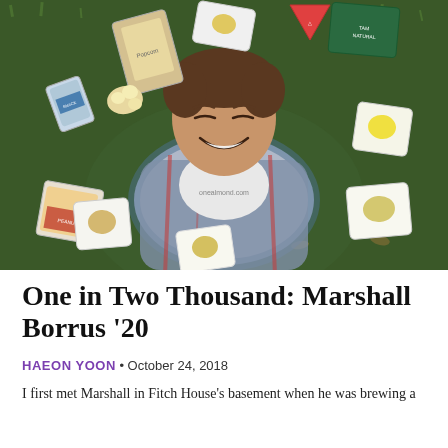[Figure (photo): A young man lying on grass, smiling at the camera, surrounded by various snack/almond packages arranged around him in a circle. He is wearing a plaid shirt over a white t-shirt that reads 'onealmond.com'.]
One in Two Thousand: Marshall Borrus '20
HAEON YOON • October 24, 2018
I first met Marshall in Fitch House's basement when he was brewing a